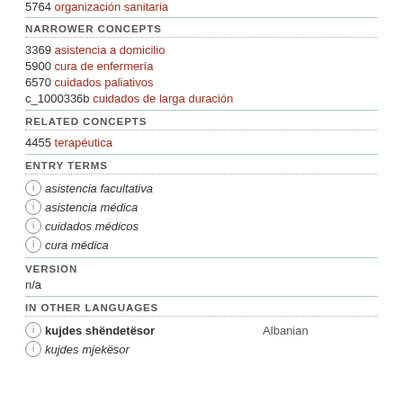5764 organización sanitaria
NARROWER CONCEPTS
3369 asistencia a domicilio
5900 cura de enfermería
6570 cuidados paliativos
c_1000336b cuidados de larga duración
RELATED CONCEPTS
4455 terapéutica
ENTRY TERMS
asistencia facultativa
asistencia médica
cuidados médicos
cura médica
VERSION
n/a
IN OTHER LANGUAGES
kujdes shëndetësor — Albanian
kujdes mjekësor